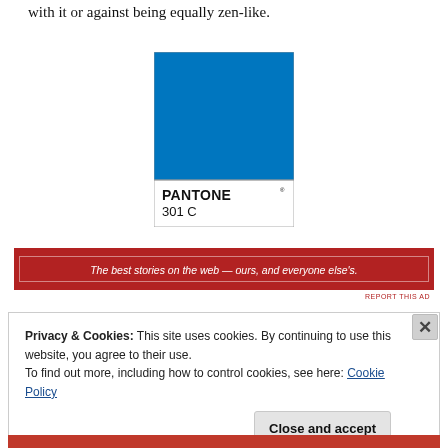with it or against being equally zen-like.
[Figure (illustration): Pantone color swatch showing PANTONE 301 C — a bright medium blue rectangle with white label below showing the brand name and color code.]
[Figure (other): Red advertisement banner with white italic text: 'The best stories on the web — ours, and everyone else's.' with inner border outline.]
REPORT THIS AD
Privacy & Cookies: This site uses cookies. By continuing to use this website, you agree to their use.
To find out more, including how to control cookies, see here: Cookie Policy
Close and accept